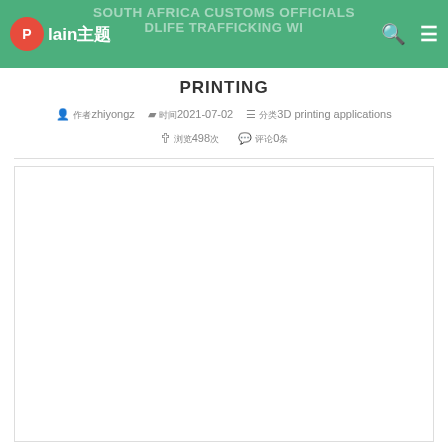SOUTH AFRICA CUSTOMS OFFICIALS ... DLIFE TRAFFICKING WI... PRINTING
PRINTING
作者 zhiyongz  时间 2021-07-02  分类 3D printing applications  浏览 498次  评论 0条
[Figure (other): Large empty white content box below the article metadata]